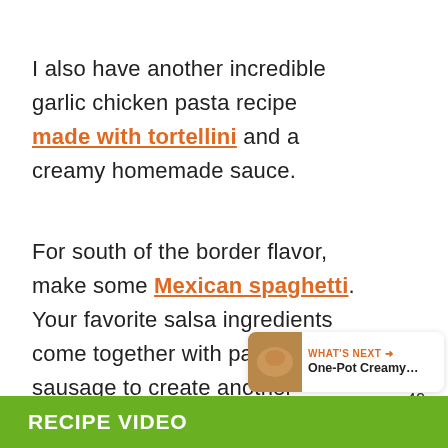I also have another incredible garlic chicken pasta recipe made with tortellini and a creamy homemade sauce.
For south of the border flavor, make some Mexican spaghetti. Your favorite salsa ingredients come together with pasta and sausage to create another knock-your-sock-off, easy pasta dish!
RECIPE VIDEO